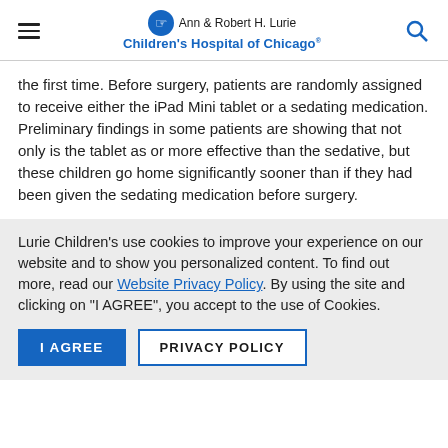Ann & Robert H. Lurie Children's Hospital of Chicago
the first time. Before surgery, patients are randomly assigned to receive either the iPad Mini tablet or a sedating medication. Preliminary findings in some patients are showing that not only is the tablet as or more effective than the sedative, but these children go home significantly sooner than if they had been given the sedating medication before surgery.
Lurie Children’s use cookies to improve your experience on our website and to show you personalized content. To find out more, read our Website Privacy Policy. By using the site and clicking on "I AGREE", you accept to the use of Cookies.
I AGREE   PRIVACY POLICY